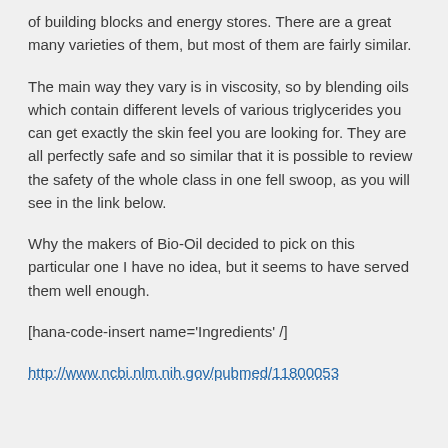of building blocks and energy stores.  There are a great many varieties of them, but most of them are fairly similar.
The main way they vary is in viscosity, so by blending oils which contain different levels of various triglycerides you can get exactly the skin feel you are looking for.  They are all perfectly safe and so similar that it is possible to review the safety of the whole class in one fell swoop, as you will see in the link below.
Why the makers of Bio-Oil decided to pick on this particular one I have no idea, but it seems to have served them well enough.
[hana-code-insert name='Ingredients' /]
http://www.ncbi.nlm.nih.gov/pubmed/11800053